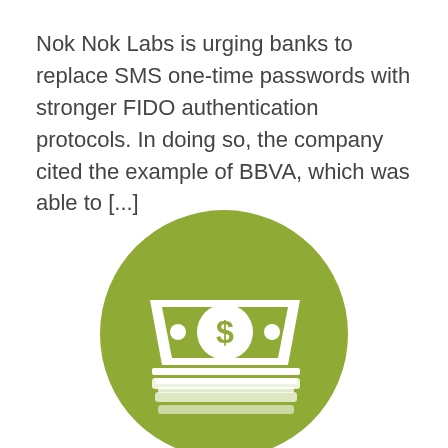Nok Nok Labs is urging banks to replace SMS one-time passwords with stronger FIDO authentication protocols. In doing so, the company cited the example of BBVA, which was able to [...]
[Figure (illustration): Green circle icon containing a white stylized banknote/money stack with a dollar sign in the center and two dots on either side, with horizontal lines below representing stacked bills.]